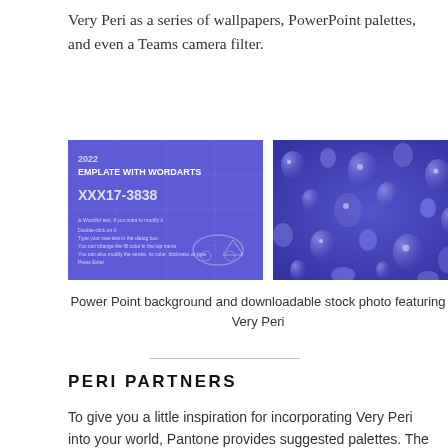Very Peri as a series of wallpapers, PowerPoint palettes, and even a Teams camera filter.
[Figure (photo): PowerPoint slide template with Very Peri purple background and WordArt text]
[Figure (photo): Close-up stock photo of water droplets on a surface in Very Peri purple color]
Power Point background and downloadable stock photo featuring Very Peri
PERI PARTNERS
To give you a little inspiration for incorporating Very Peri into your world, Pantone provides suggested palettes. The color can be the star of the show among neutrals. It